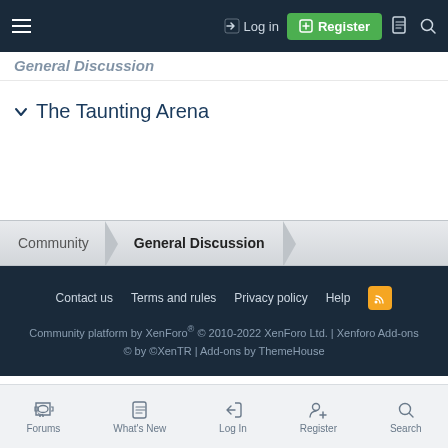Log in | Register
General Discussion (partial, cut off)
The Taunting Arena
Community > General Discussion (breadcrumb)
Contact us | Terms and rules | Privacy policy | Help | Community platform by XenForo® © 2010-2022 XenForo Ltd. | Xenforo Add-ons © by ©XenTR | Add-ons by ThemeHouse
Forums | What's New | Log In | Register | Search